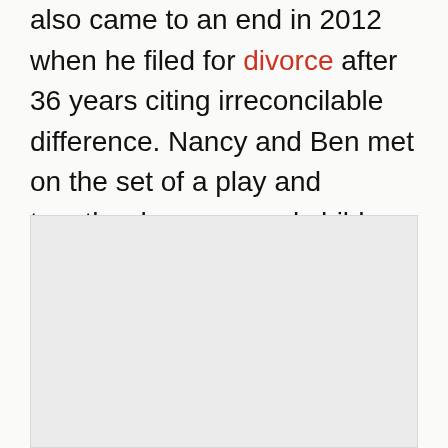also came to an end in 2012 when he filed for divorce after 36 years citing irreconcilable difference. Nancy and Ben met on the set of a play and together have several children including daughters, Malaika, Naja, Karon and Kabara Vereen.
[Figure (photo): A light gray placeholder image block occupying the lower portion of the page.]